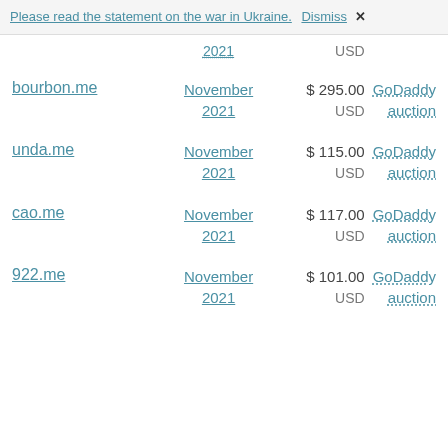Please read the statement on the war in Ukraine. Dismiss ✕
| Domain | Date | Price | Venue |
| --- | --- | --- | --- |
| bourbon.me | November 2021 | $ 295.00 USD | GoDaddy auction |
| unda.me | November 2021 | $ 115.00 USD | GoDaddy auction |
| cao.me | November 2021 | $ 117.00 USD | GoDaddy auction |
| 922.me | November 2021 | $ 101.00 USD | GoDaddy auction |